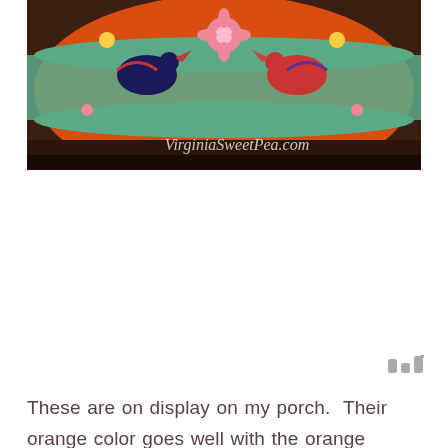[Figure (photo): Close-up photo of an orange decorative gourd or pumpkin with painted folk art design featuring birds and flowers in green, pink, and blue. A watermark reads 'VirginiaSweetPea.com' in white italic text at the bottom right of the image.]
These are on display on my porch.  Their orange color goes well with the orange flowers and bow in the